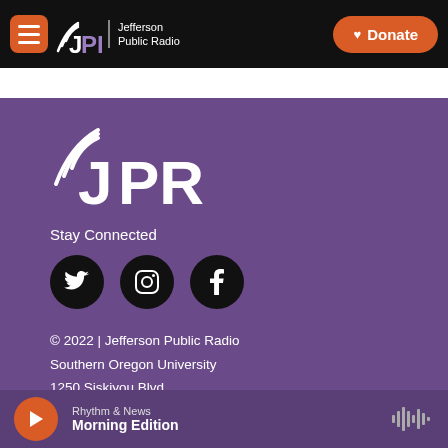JPR Jefferson Public Radio | Donate
[Figure (logo): JPR Jefferson Public Radio logo with social icons, contact info, and player bar on purple background]
Stay Connected
© 2022 | Jefferson Public Radio
Southern Oregon University
1250 Siskiyou Blvd.
Ashland, OR 97520
541.552.6301 | 800.782.6191
Rhythm & News  Morning Edition